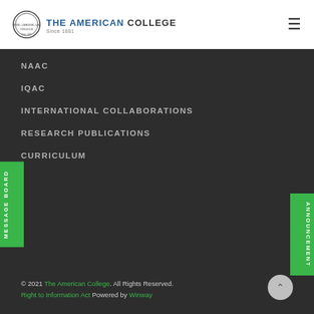THE AMERICAN COLLEGE
NAAC
IQAC
INTERNATIONAL COLLABORATIONS
RESEARCH PUBLICATIONS
CURRICULUM
© 2021 The American College. All Rights Reserved. Right to Information Act Powered by Winway